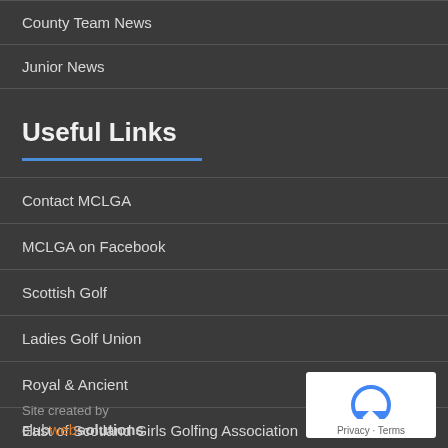County Team News
Junior News
Useful Links
Contact MCLGA
MCLGA on Facebook
Scottish Golf
Ladies Golf Union
Royal & Ancient
East of Scotland Girls Golfing Association
Site created by clubwebsolutions
[Figure (logo): reCAPTCHA logo with Privacy and Terms links]